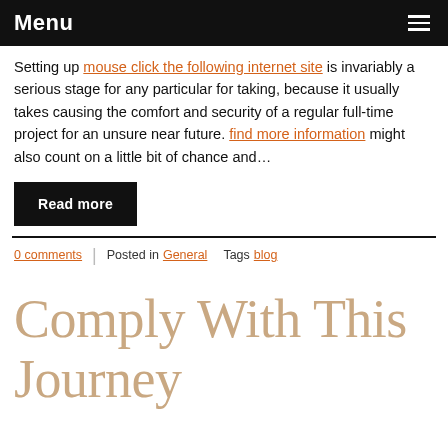Menu
Setting up mouse click the following internet site is invariably a serious stage for any particular for taking, because it usually takes causing the comfort and security of a regular full-time project for an unsure near future. find more information might also count on a little bit of chance and…
Read more
0 comments | Posted in General  Tags blog
Comply With This Journey